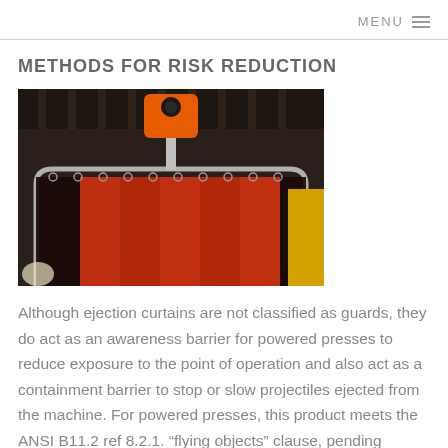MENU
METHODS FOR RISK REDUCTION
[Figure (photo): Industrial ejection curtain hanging from an orange overhead bracket/hook, with red mesh curtain panels suspended on a curved metal rail, in a factory/industrial setting.]
Although ejection curtains are not classified as guards, they do act as an awareness barrier for powered presses to reduce exposure to the point of operation and also act as a containment barrier to stop or slow projectiles ejected from the machine. For powered presses, this product meets the ANSI B11.2 ref 8.2.1. “flying objects” clause, pending results of the risk